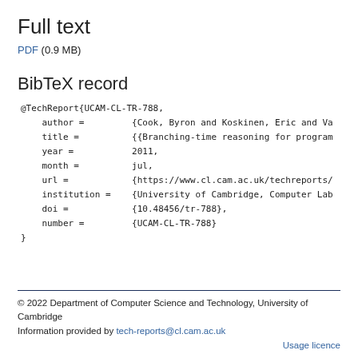Full text
PDF (0.9 MB)
BibTeX record
@TechReport{UCAM-CL-TR-788,
    author =         {Cook, Byron and Koskinen, Eric and Va
    title =          {{Branching-time reasoning for program
    year =           2011,
    month =          jul,
    url =            {https://www.cl.cam.ac.uk/techreports/
    institution =    {University of Cambridge, Computer Lab
    doi =            {10.48456/tr-788},
    number =         {UCAM-CL-TR-788}
}
© 2022 Department of Computer Science and Technology, University of Cambridge
Information provided by tech-reports@cl.cam.ac.uk
Usage licence